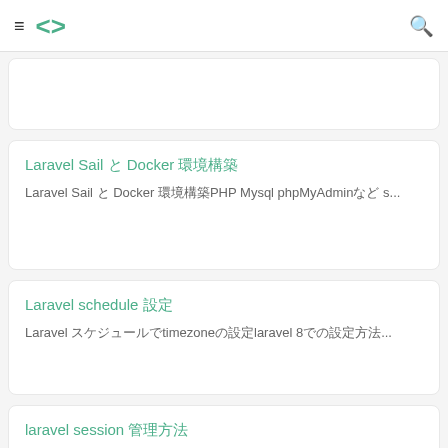≡ <> 🔍
Laravel Sail と Docker 環境構築
Laravel Sail と Docker 環境構築PHP Mysql phpMyAdminなど s...
Laravel schedule 設定
Laravel スケジュールでtimezoneの設定laravel 8での設定方法...
laravel session 管理方法